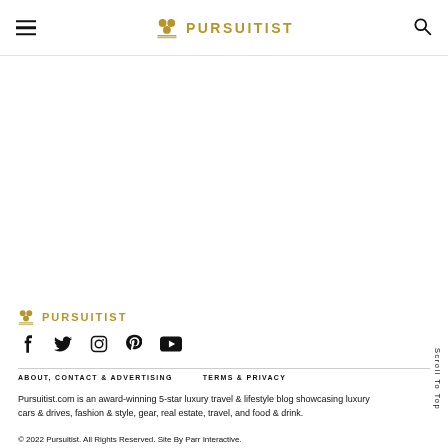PURSUITIST — navigation header with hamburger menu and search icon
[Figure (logo): Pursuitist logo in footer with icon and text PURSUITIST]
[Figure (infographic): Social media icons row: Facebook, Twitter, Instagram, Pinterest, YouTube]
ABOUT, CONTACT & ADVERTISING   TERMS & PRIVACY
Pursuitist.com is an award-winning 5-star luxury travel & lifestyle blog showcasing luxury cars & drives, fashion & style, gear, real estate, travel, and food & drink.
© 2022 Pursuitist. All Rights Reserved. Site By Parr Interactive.
Scroll To Top